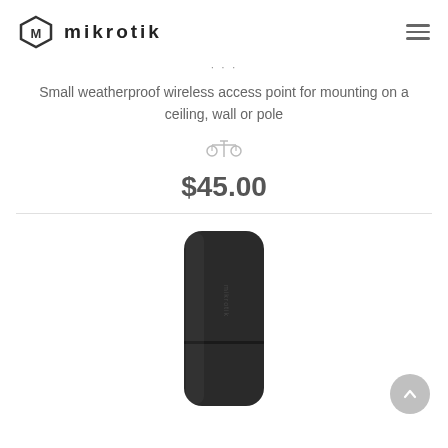MikroTik
...
Small weatherproof wireless access point for mounting on a ceiling, wall or pole
$45.00
[Figure (photo): MikroTik black wireless access point device, vertical orientation, dark rounded rectangular enclosure]